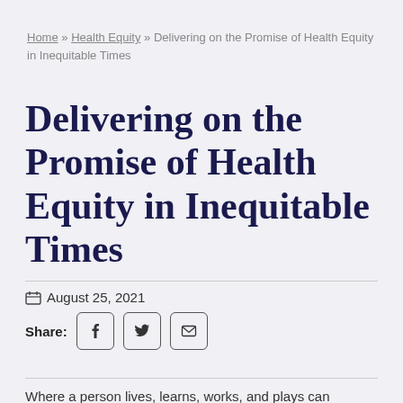Home » Health Equity » Delivering on the Promise of Health Equity in Inequitable Times
Delivering on the Promise of Health Equity in Inequitable Times
August 25, 2021
Share: [Facebook] [Twitter] [Email]
Where a person lives, learns, works, and plays can